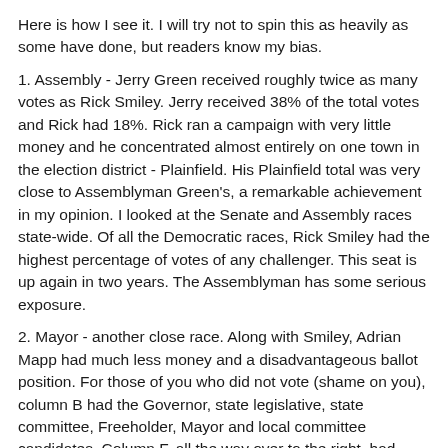Here is how I see it. I will try not to spin this as heavily as some have done, but readers know my bias.
1. Assembly - Jerry Green received roughly twice as many votes as Rick Smiley. Jerry received 38% of the total votes and Rick had 18%. Rick ran a campaign with very little money and he concentrated almost entirely on one town in the election district - Plainfield. His Plainfield total was very close to Assemblyman Green's, a remarkable achievement in my opinion. I looked at the Senate and Assembly races state-wide. Of all the Democratic races, Rick Smiley had the highest percentage of votes of any challenger. This seat is up again in two years. The Assemblyman has some serious exposure.
2. Mayor - another close race. Along with Smiley, Adrian Mapp had much less money and a disadvantageous ballot position. For those of you who did not vote (shame on you), column B had the Governor, state legislative, state committee, Freeholder, Mayor and local committee candidates. Column F, all the way over to the right, had Smiley, Mapp and one or two local committee candidates.